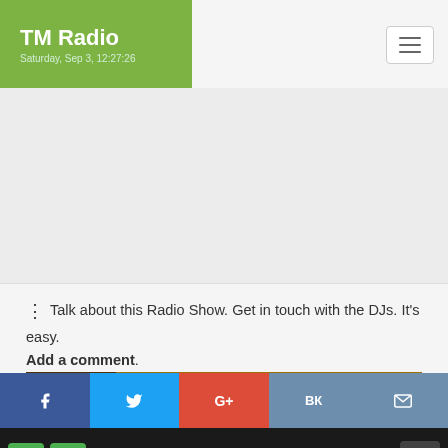TM Radio
Saturday, Sep 3, 12:27:26
[Figure (other): Advertisement placeholder area (grey background)]
Talk about this Radio Show. Get in touch with the DJs. It's easy. Add a comment.
[Figure (illustration): Banner image with sepia sheet music background and text 'Every Sunday 6:00 PM UTC']
[Figure (screenshot): Social sharing bar with Facebook, Twitter, Google+, VK, and email buttons]
Julian Rodriguez - Happy Memories - December 14, 2009.mp3